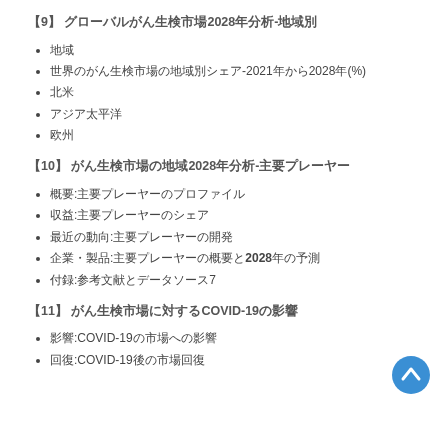【9】 グローバルがん生検市場2028年分析-地域別
地域
世界のがん生検市場の地域別シェア-2021年から2028年(%)
北米
アジア太平洋
欧州
【10】 がん生検市場の地域2028年分析-主要プレーヤー
概要:主要プレーヤーのプロファイル
収益:主要プレーヤーのシェア
最近の動向:主要プレーヤーの開発
企業・製品:主要プレーヤーの概要と2028年の予測
付録:参考文献とデータソース7
【11】 がん生検市場に対するCOVID-19の影響
影響:COVID-19の市場への影響
回復:COVID-19後の市場回復